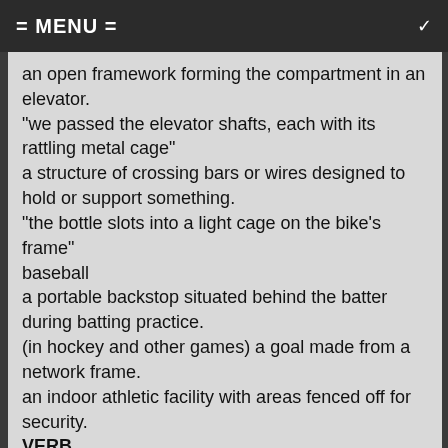= MENU =
an open framework forming the compartment in an elevator.
"we passed the elevator shafts, each with its rattling metal cage"
a structure of crossing bars or wires designed to hold or support something.
"the bottle slots into a light cage on the bike's frame"
baseball
a portable backstop situated behind the batter during batting practice.
(in hockey and other games) a goal made from a network frame.
an indoor athletic facility with areas fenced off for security.
VERB
(be caged)
cages (third person present) · caged (past tense) · caged (past participle) · caging (present participle)
confine in or as in a cage.
"the parrot screamed, furious at being caged"
synonyms:
confine · shut in/up · pen · lock up · coop up · immure ·